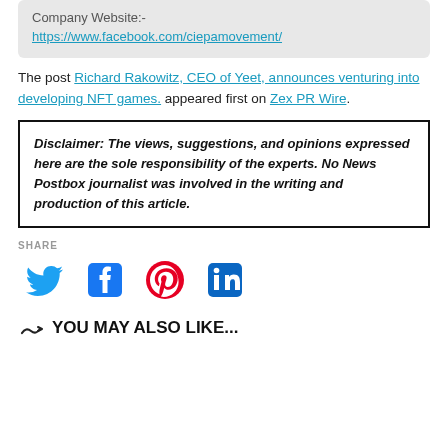Company Website:-
https://www.facebook.com/ciepamovement/
The post Richard Rakowitz, CEO of Yeet, announces venturing into developing NFT games. appeared first on Zex PR Wire.
Disclaimer: The views, suggestions, and opinions expressed here are the sole responsibility of the experts. No News Postbox journalist was involved in the writing and production of this article.
SHARE
[Figure (infographic): Social media share icons: Twitter (blue bird), Facebook (blue f), Pinterest (red P), LinkedIn (blue in)]
YOU MAY ALSO LIKE...